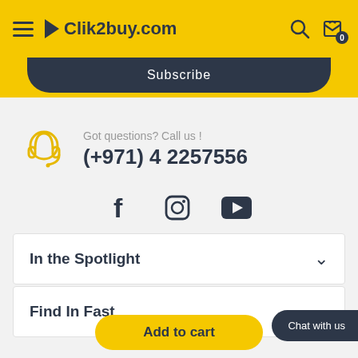Clik2buy.com
Subscribe
Got questions? Call us !
(+971) 4 2257556
[Figure (illustration): Social media icons: Facebook, Instagram, YouTube]
In the Spotlight
Find In Fast
Chat with us
Add to cart